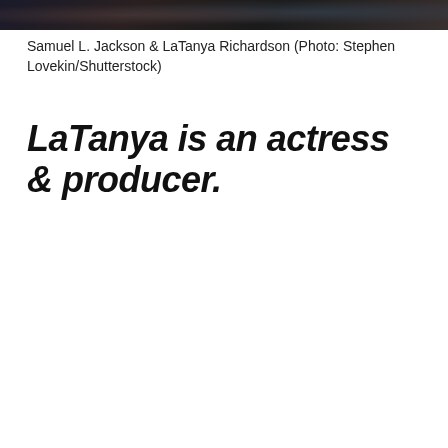[Figure (photo): Partial photo of Samuel L. Jackson and LaTanya Richardson at a formal event, cropped at top showing their upper bodies against a dark sparkly background]
Samuel L. Jackson & LaTanya Richardson (Photo: Stephen Lovekin/Shutterstock)
LaTanya is an actress & producer.